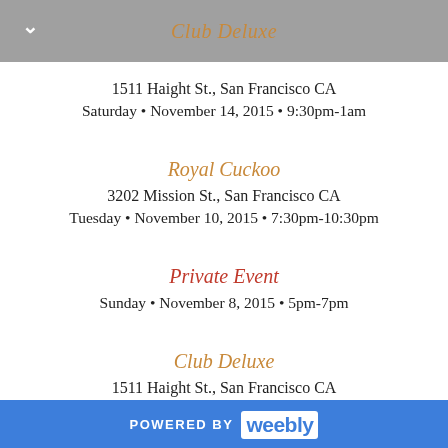Club Deluxe
1511 Haight St., San Francisco CA
Saturday • November 14, 2015 • 9:30pm-1am
Royal Cuckoo
3202 Mission St., San Francisco CA
Tuesday • November 10, 2015 • 7:30pm-10:30pm
Private Event
Sunday • November 8, 2015 • 5pm-7pm
Club Deluxe
1511 Haight St., San Francisco CA
POWERED BY weebly